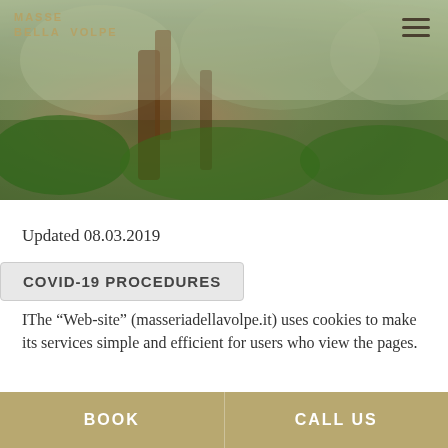[Figure (photo): Hero banner photograph of a natural landscape with trees and green vegetation in a misty/foggy atmosphere. The Masseria Della Volpe logo appears in gold/tan text in the top-left corner, and a hamburger menu icon is in the top-right corner.]
Updated 08.03.2019
USE OF COOKIES
COVID-19 PROCEDURES
IThe “Web-site” (masseriadellavolpe.it) uses cookies to make its services simple and efficient for users who view the pages.
BOOK
CALL US